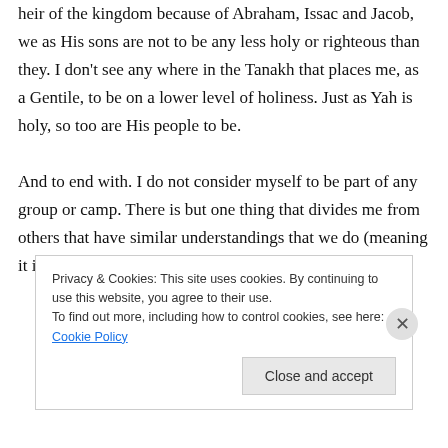heir of the kingdom because of Abraham, Issac and Jacob, we as His sons are not to be any less holy or righteous than they. I don't see any where in the Tanakh that places me, as a Gentile, to be on a lower level of holiness. Just as Yah is holy, so too are His people to be.

And to end with. I do not consider myself to be part of any group or camp. There is but one thing that divides me from others that have similar understandings that we do (meaning it isn't
Privacy & Cookies: This site uses cookies. By continuing to use this website, you agree to their use.
To find out more, including how to control cookies, see here: Cookie Policy
Close and accept